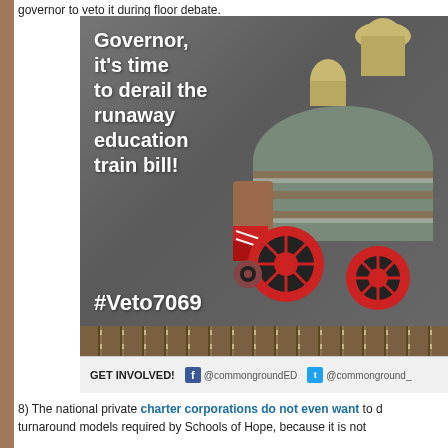governor to veto it during floor debate.
[Figure (illustration): Cartoon train image on a chalkboard-style background with text 'Governor, it's time to derail the runaway education train bill!' and hashtag '#Veto7069'. A cartoon steam locomotive is shown on the right side.]
GET INVOLVED!  @commongroundED  @commonground_
8) The national private charter corporations do not even want to do the turnaround models required by Schools of Hope, because it is not